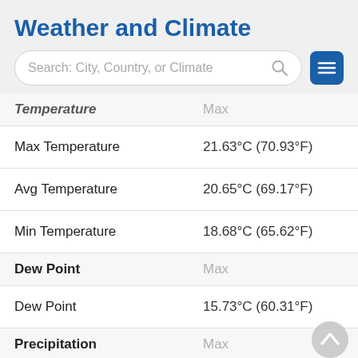Weather and Climate
| Temperature | Max | Aver |
| --- | --- | --- |
| Max Temperature | 21.63°C (70.93°F) | 16.8 |
| Avg Temperature | 20.65°C (69.17°F) | 15.1 |
| Min Temperature | 18.68°C (65.62°F) | 12.8 |
| Dew Point (header) | Max | Aver |
| Dew Point | 15.73°C (60.31°F) | 8.75 |
| Precipitation (header) | Max |  |
| Precipitation | 14.94mm | 0.59in | 1.93 |